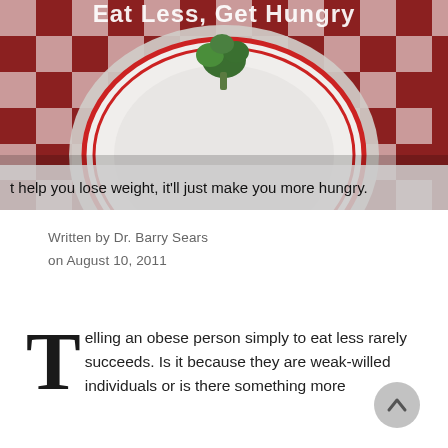[Figure (photo): Overhead photo of a white plate with red stripes on a red checkered tablecloth, with a small piece of broccoli on the plate. Title text 'Eat Less, Get Hungry' appears at the top of the image in white. A caption bar at bottom reads: 't help you lose weight, it'll just make you more hungry.']
Written by Dr. Barry Sears
on August 10, 2011
Telling an obese person simply to eat less rarely succeeds. Is it because they are weak-willed individuals or is there something more